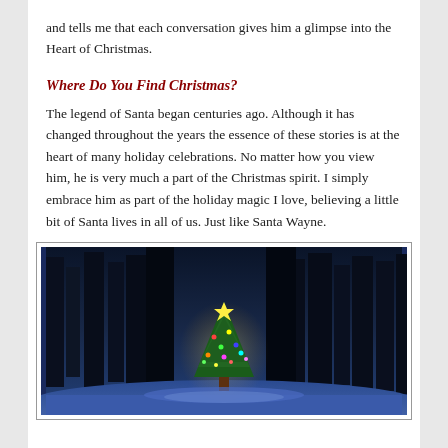and tells me that each conversation gives him a glimpse into the Heart of Christmas.
Where Do You Find Christmas?
The legend of Santa began centuries ago. Although it has changed throughout the years the essence of these stories is at the heart of many holiday celebrations. No matter how you view him, he is very much a part of the Christmas spirit. I simply embrace him as part of the holiday magic I love, believing a little bit of Santa lives in all of us. Just like Santa Wayne.
[Figure (photo): A glowing decorated Christmas tree standing in a snowy forest at night, surrounded by tall dark trees with snow-covered branches, blue-toned winter scene.]